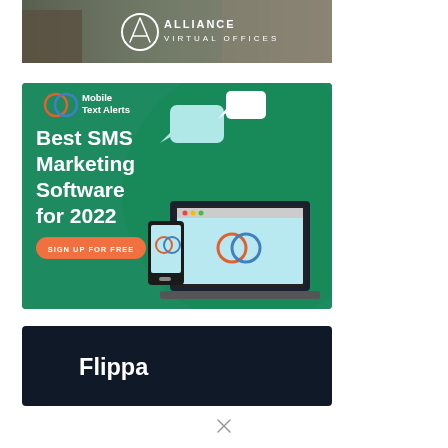[Figure (illustration): Alliance Virtual Offices advertisement banner showing logo with circular emblem and text 'ALLIANCE VIRTUAL OFFICES' on a muted background with a person working on a laptop]
[Figure (illustration): Mobile Text Alerts advertisement on teal/green background. Shows logo icon, text 'Best SMS Marketing Software for 2022', orange 'SIGN UP FOR FREE' button, and device mockups (laptop and phone) with chat bubble icons]
[Figure (illustration): Flippa advertisement on dark navy background showing the 'Flippa' brand name in white text]